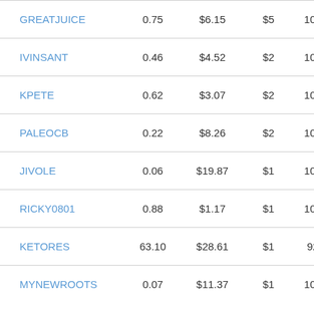| GREATJUICE | 0.75 | $6.15 | $5 | 100% |
| IVINSANT | 0.46 | $4.52 | $2 | 100% |
| KPETE | 0.62 | $3.07 | $2 | 100% |
| PALEOCB | 0.22 | $8.26 | $2 | 100% |
| JIVOLE | 0.06 | $19.87 | $1 | 100% |
| RICKY0801 | 0.88 | $1.17 | $1 | 100% |
| KETORES | 63.10 | $28.61 | $1 | 92% |
| MYNEWROOTS | 0.07 | $11.37 | $1 | 100% |